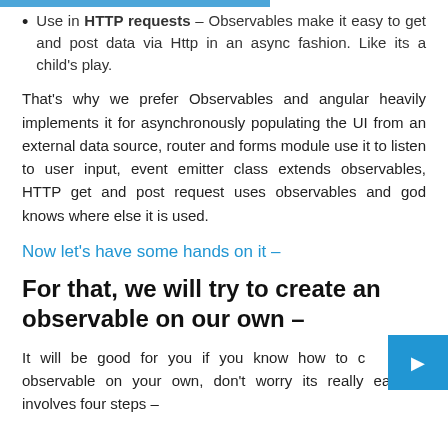Use in HTTP requests – Observables make it easy to get and post data via Http in an async fashion. Like its a child's play.
That's why we prefer Observables and angular heavily implements it for asynchronously populating the UI from an external data source, router and forms module use it to listen to user input, event emitter class extends observables, HTTP get and post request uses observables and god knows where else it is used.
Now let's have some hands on it –
For that, we will try to create an observable on our own –
It will be good for you if you know how to create an observable on your own, don't worry its really easy, it involves four steps –